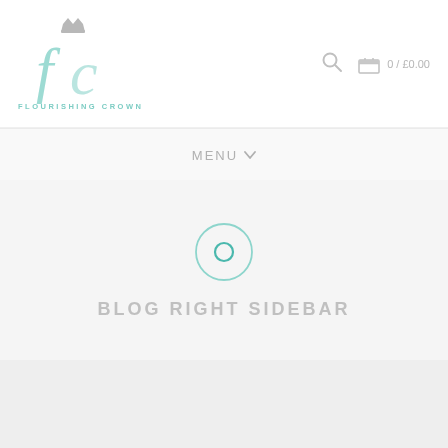[Figure (logo): Flourishing Crown logo with stylized 'fc' letters in mint/teal green and a crown above, with text FLOURISHING CROWN below]
[Figure (other): Search icon (magnifying glass) in light grey]
[Figure (other): Shopping bag icon in light grey with text '0 / £0.00']
MENU ⌄
[Figure (other): Circle icon with inner circle/dot in teal/mint green outline]
BLOG RIGHT SIDEBAR
[Figure (other): Grey rectangle content placeholder area at bottom]